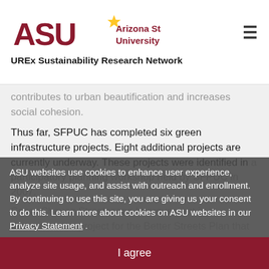[Figure (logo): Arizona State University logo with ASU text in maroon and gold sunburst, and 'Arizona State University' text in maroon]
UREx Sustainability Research Network
contributes to urban beautification and increases social cohesion.
Thus far, SFPUC has completed six green infrastructure projects. Eight additional projects are currently underway. These projects were identified in a participatory planning workshop held by SFPUC in 2007.
Cesar Chavez Streetscape Improvement is a demonstration project for the Better Streets Plan that was completed in the Mission neighborhood. 18 rain gardens were constructed along a half mile portion of a street. Trees and drought-tolerant landscaping were also planted to help manage stormwater.
ASU websites use cookies to enhance user experience, analyze site usage, and assist with outreach and enrollment. By continuing to use this site, you are giving us your consent to do this. Learn more about cookies on ASU websites in our Privacy Statement .
I agree